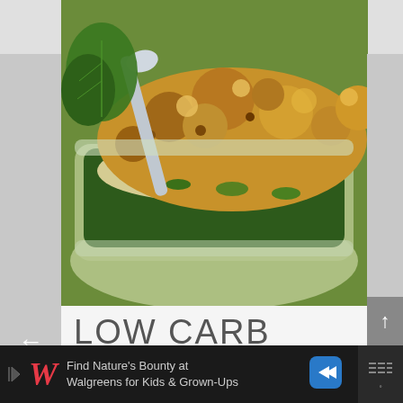[Figure (photo): Close-up photo of a low carb casserole dish with a golden breadcrumb topping, green vegetables visible underneath, in a glass baking dish with a serving spoon]
LOW CARB
[Figure (infographic): Walgreens advertisement banner: 'Find Nature's Bounty at Walgreens for Kids & Grown-Ups' with Walgreens W logo, ad arrow icon, blue diamond navigation arrow, and weather app icon]